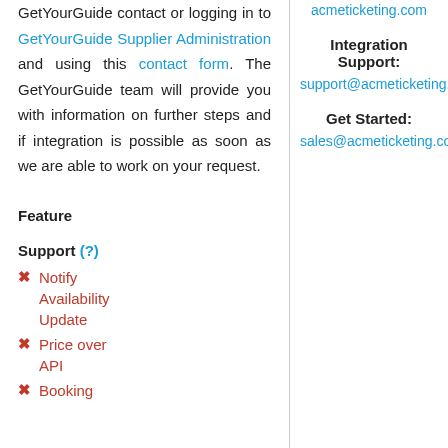GetYourGuide contact or logging in to GetYourGuide Supplier Administration and using this contact form. The GetYourGuide team will provide you with information on further steps and if integration is possible as soon as we are able to work on your request.
acmeticketing.com
Integration Support:
support@acmeticketing.com
Get Started:
sales@acmeticketing.com
Feature
Support (?)
✗ Notify Availability Update
✗ Price over API
✗ Booking